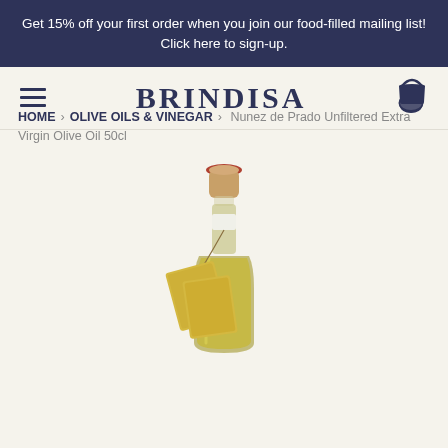Get 15% off your first order when you join our food-filled mailing list! Click here to sign-up.
BRINDISA
HOME › OLIVE OILS & VINEGAR › Nunez de Prado Unfiltered Extra Virgin Olive Oil 50cl
[Figure (photo): A glass bottle of Nunez de Prado Unfiltered Extra Virgin Olive Oil 50cl with a cork stopper and a hanging product label tag, showing golden olive oil inside.]